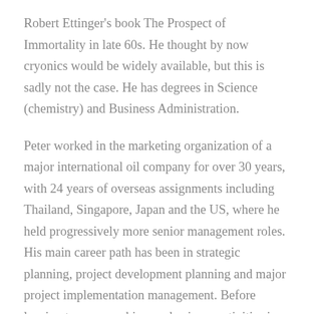Robert Ettinger's book The Prospect of Immortality in late 60s. He thought by now cryonics would be widely available, but this is sadly not the case. He has degrees in Science (chemistry) and Business Administration.
Peter worked in the marketing organization of a major international oil company for over 30 years, with 24 years of overseas assignments including Thailand, Singapore, Japan and the US, where he held progressively more senior management roles. His main career path has been in strategic planning, project development planning and major project implementation management. Before leaving to progress his own business activities in 2008, Peter managed a gate-keeping team of high level executives